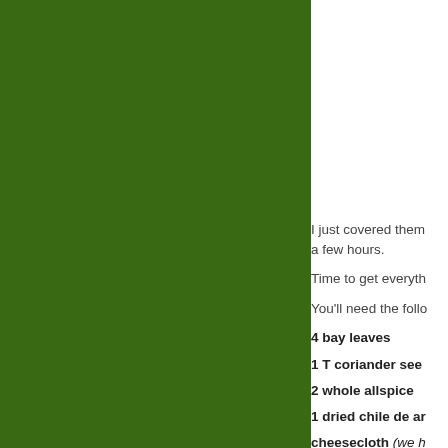[Figure (photo): Large green panel occupying the left side of the page, likely a food or nature photograph with green background.]
I just covered them a few hours.
Time to get everyth
You'll need the follo
4 bay leaves
1 T coriander see
2 whole allspice
1 dried chile de ar
cheesecloth (we h